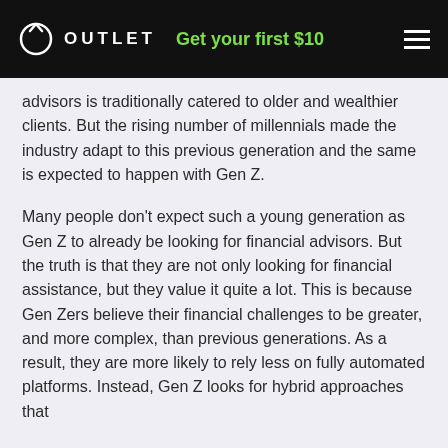OUTLET  Get your first $10
advisors is traditionally catered to older and wealthier clients. But the rising number of millennials made the industry adapt to this previous generation and the same is expected to happen with Gen Z.
Many people don't expect such a young generation as Gen Z to already be looking for financial advisors. But the truth is that they are not only looking for financial assistance, but they value it quite a lot. This is because Gen Zers believe their financial challenges to be greater, and more complex, than previous generations. As a result, they are more likely to rely less on fully automated platforms. Instead, Gen Z looks for hybrid approaches that